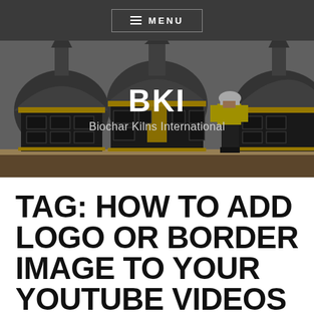≡ MENU
[Figure (illustration): BKI Biochar Kilns International banner with industrial kiln illustration and worker in hi-vis gear]
TAG: HOW TO ADD LOGO OR BORDER IMAGE TO YOUR YOUTUBE VIDEOS